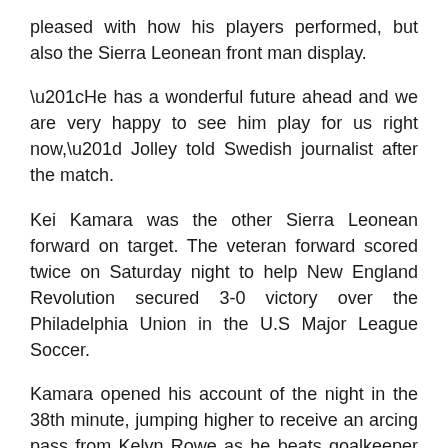pleased with how his players performed, but also the Sierra Leonean front man display.
“He has a wonderful future ahead and we are very happy to see him play for us right now,” Jolley told Swedish journalist after the match.
Kei Kamara was the other Sierra Leonean forward on target. The veteran forward scored twice on Saturday night to help New England Revolution secured 3-0 victory over the Philadelphia Union in the U.S Major League Soccer.
Kamara opened his account of the night in the 38th minute, jumping higher to receive an arcing pass from Kelyn Rowe as he beats goalkeeper John McCarthy. The former Norwich man added his second in the 85th minute as he accounted for his first brace since July 2016.